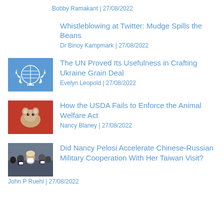Bobby Ramakant | 27/08/2022
Whistleblowing at Twitter: Mudge Spills the Beans
Dr Binoy Kampmark | 27/08/2022
[Figure (photo): UN flag icon on blue background]
The UN Proved Its Usefulness in Crafting Ukraine Grain Deal
Evelyn Leopold | 27/08/2022
[Figure (photo): Photo of a hamster or small rodent on red background]
How the USDA Fails to Enforce the Animal Welfare Act
Nancy Blaney | 27/08/2022
[Figure (photo): Photo of Nancy Pelosi with masked people]
Did Nancy Pelosi Accelerate Chinese-Russian Military Cooperation With Her Taiwan Visit?
John P Ruehl | 27/08/2022